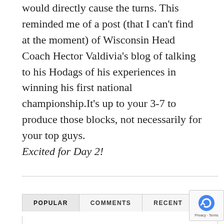would directly cause the turns. This reminded me of a post (that I can't find at the moment) of Wisconsin Head Coach Hector Valdivia's blog of talking to his Hodags of his experiences in winning his first national championship.It's up to your 3-7 to produce those blocks, not necessarily for your top guys.
Excited for Day 2!
POPULAR   COMMENTS   RECENT